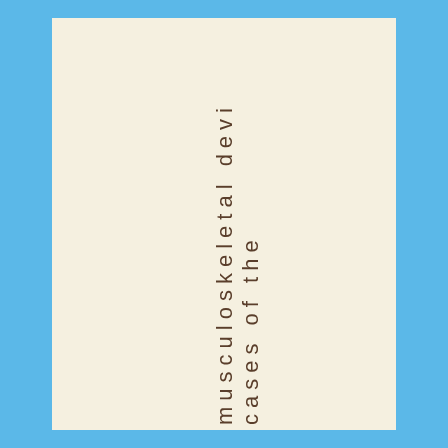cases of the musculoskeletal devices